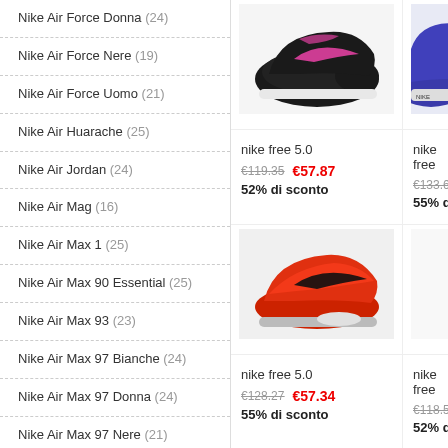Nike Air Force Donna (24)
Nike Air Force Nere (19)
Nike Air Force Uomo (21)
Nike Air Huarache (25)
Nike Air Jordan (24)
Nike Air Mag (16)
Nike Air Max 1 (25)
Nike Air Max 90 Essential (25)
Nike Air Max 93 (23)
Nike Air Max 97 Bianche (24)
Nike Air Max 97 Donna (24)
Nike Air Max 97 Nere (21)
Nike Air Max 97 Rosa (24)
Nike Air Max 97 Silver (22)
Nike Air Max 97 Ultra (25)
[Figure (photo): Black Nike Free 5.0 running shoe with pink swoosh]
nike free 5.0
€119.35  €57.87
52% di sconto
[Figure (photo): Blue/grey Nike Free running shoe, partially visible]
nike free
€133.67
55% di
[Figure (photo): Red/orange Nike Free 5.0 running shoe with black swoosh]
nike free 5.0
€128.27  €57.34
55% di sconto
nike free
€118.55
52% di